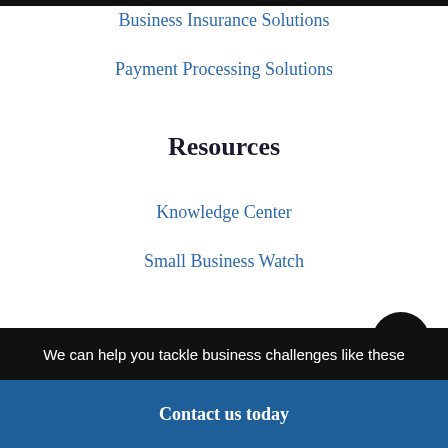Business Insurance Solutions
Payment Processing Solutions
Resources
Knowledge Center
Small Business Watch
About Paychex
About Us
Careers
We can help you tackle business challenges like these
Contact us today